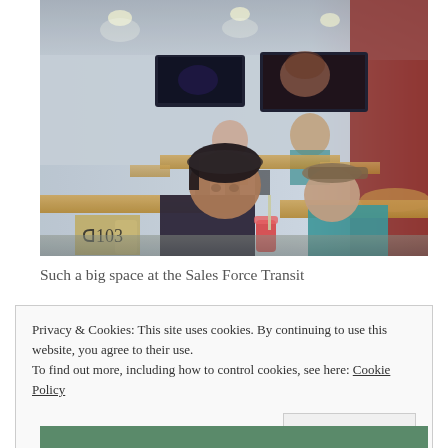[Figure (photo): Interior of a large restaurant/cafeteria space. People are seated at wooden tables. Two TVs mounted on the wall in the background. A young man with dark hair sits in the foreground holding a red drink with a straw. An older person in a teal/blue shirt sits to the right. The scene has a painterly/filtered look.]
Such a big space at the Sales Force Transit
Privacy & Cookies: This site uses cookies. By continuing to use this website, you agree to their use.
To find out more, including how to control cookies, see here: Cookie Policy
Close and accept